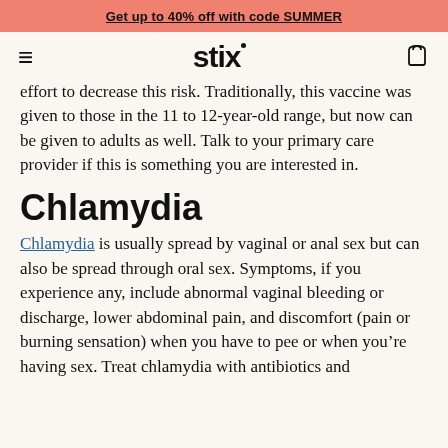Get up to 40% off with code SUMMER
stix
effort to decrease this risk. Traditionally, this vaccine was given to those in the 11 to 12-year-old range, but now can be given to adults as well. Talk to your primary care provider if this is something you are interested in.
Chlamydia
Chlamydia is usually spread by vaginal or anal sex but can also be spread through oral sex. Symptoms, if you experience any, include abnormal vaginal bleeding or discharge, lower abdominal pain, and discomfort (pain or burning sensation) when you have to pee or when you're having sex. Treat chlamydia with antibiotics and